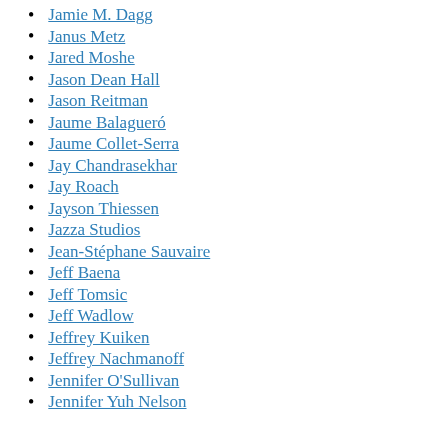Jamie M. Dagg
Janus Metz
Jared Moshe
Jason Dean Hall
Jason Reitman
Jaume Balagueró
Jaume Collet-Serra
Jay Chandrasekhar
Jay Roach
Jayson Thiessen
Jazza Studios
Jean-Stéphane Sauvaire
Jeff Baena
Jeff Tomsic
Jeff Wadlow
Jeffrey Kuiken
Jeffrey Nachmanoff
Jennifer O'Sullivan
Jennifer Yuh Nelson